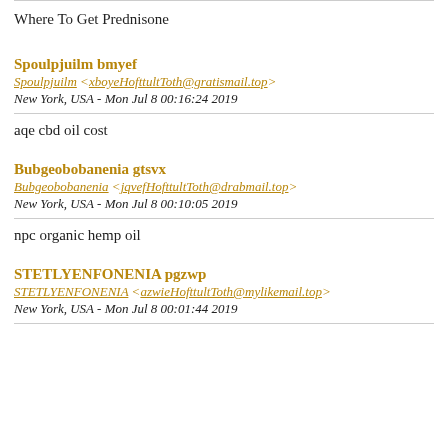Where To Get Prednisone
Spoulpjuilm bmyef
Spoulpjuilm <xboyeHofttultToth@gratismail.top>
New York, USA - Mon Jul 8 00:16:24 2019
aqe cbd oil cost
Bubgeobobanenia gtsvx
Bubgeobobanenia <jqvefHofttultToth@drabmail.top>
New York, USA - Mon Jul 8 00:10:05 2019
npc organic hemp oil
STETLYENFONENIA pgzwp
STETLYENFONENIA <azwieHofttultToth@mylikemail.top>
New York, USA - Mon Jul 8 00:01:44 2019